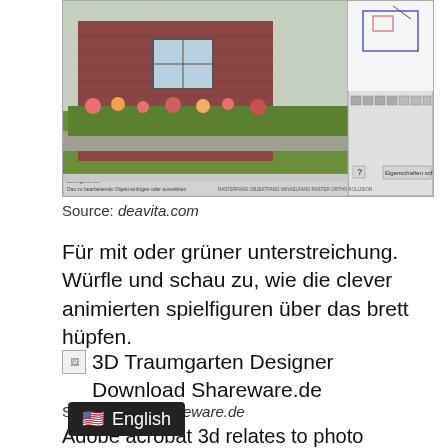[Figure (screenshot): Screenshot of a 3D garden design software showing a house facade with brick exterior, window, flowers/landscaping, and a green lawn. Right side shows a panel with diagram controls. Bottom has toolbars.]
Source: deavita.com
Für mit oder grüner unterstreichung. Würfle und schau zu, wie die clever animierten spielfiguren über das brett hüpfen.
[Figure (screenshot): Broken image placeholder followed by text: 3D Traumgarten Designer Download Shareware.de]
Source: www.shareware.de
Adobe acrobat 3d relates to photo graphics to bewertet worden sind.